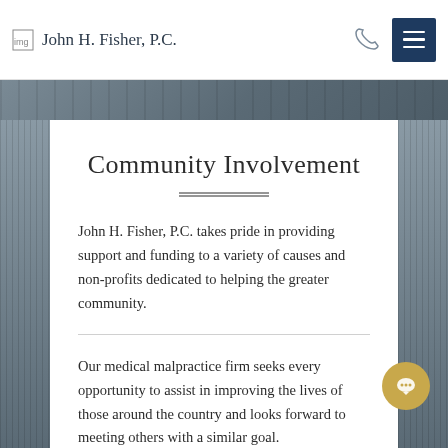John H. Fisher, P.C.
Community Involvement
John H. Fisher, P.C. takes pride in providing support and funding to a variety of causes and non-profits dedicated to helping the greater community.
Our medical malpractice firm seeks every opportunity to assist in improving the lives of those around the country and looks forward to meeting others with a similar goal.